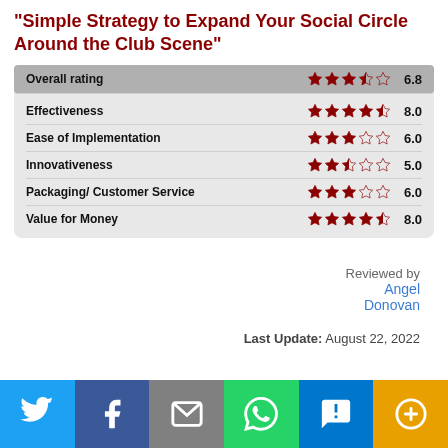"Simple Strategy to Expand Your Social Circle Around the Club Scene"
| Category | Stars | Score |
| --- | --- | --- |
| Overall rating | ★★★☆☆ | 6.8 |
| Effectiveness | ★★★★☆ | 8.0 |
| Ease of Implementation | ★★★☆☆ | 6.0 |
| Innovativeness | ★★☆☆☆ | 5.0 |
| Packaging/ Customer Service | ★★★☆☆ | 6.0 |
| Value for Money | ★★★★☆ | 8.0 |
Reviewed by Angel Donovan
Last Update: August 22, 2022